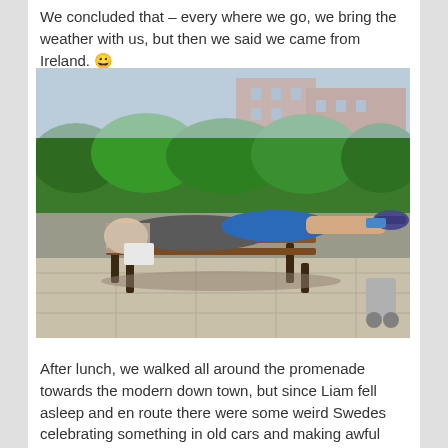We concluded that – every where we go, we bring the weather with us, but then we said we came from Ireland. 😀
[Figure (photo): Person lying asleep on a wooden park bench outdoors, with green hedges and brick buildings in the background, on a sunny day.]
After lunch, we walked all around the promenade towards the modern down town, but since Liam fell asleep and en route there were some weird Swedes celebrating something in old cars and making awful noise, we decided to skip that part and return to the park behind the City hall. Sun